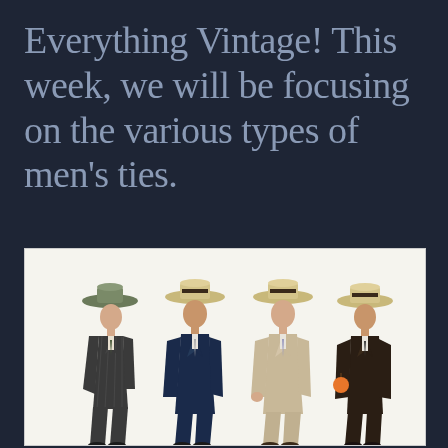Everything Vintage! This week, we will be focusing on the various types of men's ties.
[Figure (illustration): Vintage illustration of four men in early 20th century suits and straw boater hats, shown in pairs facing each other]